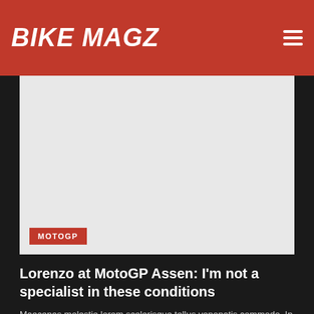BIKE MAGZ
[Figure (photo): Large motorcycle racing photo placeholder (light gray background), with a MOTOGP category tag in the lower-left corner]
Lorenzo at MotoGP Assen: I'm not a specialist in these conditions
Maecenas molestie lorem scelerisque tellus venenatis commodo. In interdum leo nec interdum pharetra. Vivamus rhoncus ac tellus et